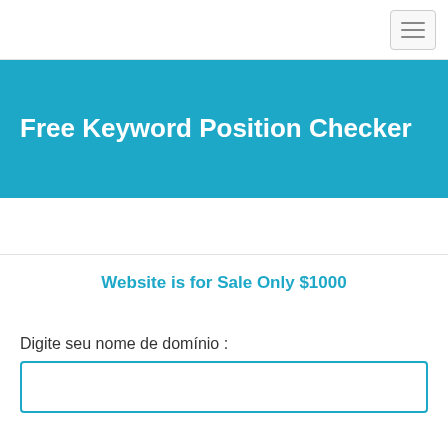[Figure (other): Hamburger menu button icon in top right of navbar]
Free Keyword Position Checker
Website is for Sale Only $1000
Digite seu nome de domínio :
[Figure (other): Text input field for domain name entry]